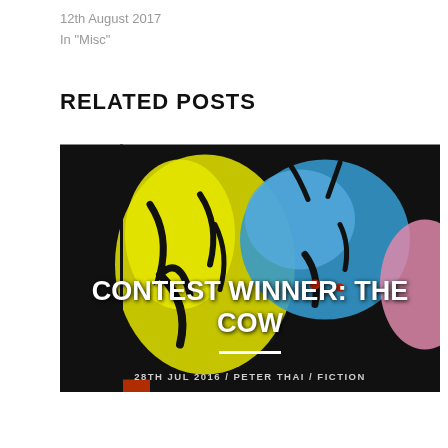12th August 2017
In "Misc"
RELATED POSTS
[Figure (photo): Colorful abstract painting with bright yellow, blue, and pink figures on black background. Overlay text reads 'CONTEST WINNER: THE COW' in white bold uppercase with a white horizontal line beneath, and below that '28TH JUL 2016 / PETER THAI / FICTION']